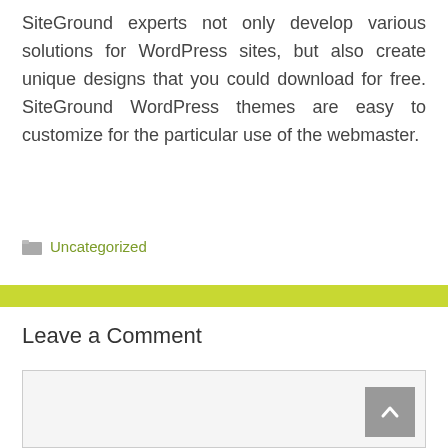SiteGround experts not only develop various solutions for WordPress sites, but also create unique designs that you could download for free. SiteGround WordPress themes are easy to customize for the particular use of the webmaster.
Uncategorized
Leave a Comment